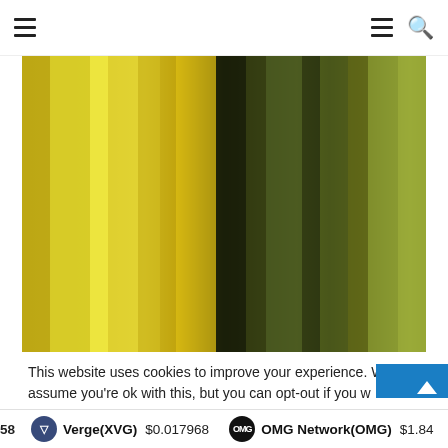Navigation header with hamburger menu icons and search icon
[Figure (illustration): Abstract blurred vertical stripes in yellow-green and olive-green gradient tones, resembling bokeh or motion-blurred foliage.]
This website uses cookies to improve your experience. We'll assume you're ok with this, but you can opt-out if you w
58  Verge(XVG) $0.017968   OMG Network(OMG) $1.84